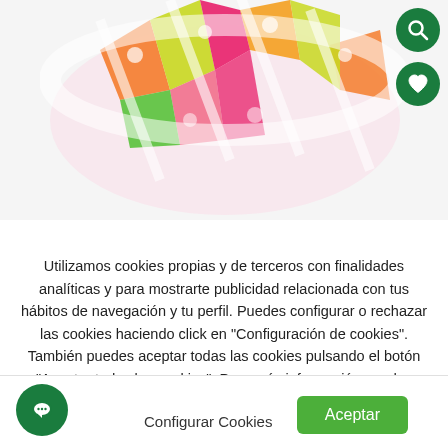[Figure (photo): Colorful inflatable pool with orange, yellow, pink, and green floral/kite pattern, partially visible from above. Green circular search button and green circular heart/favorite button visible in upper right corner.]
Utilizamos cookies propias y de terceros con finalidades analíticas y para mostrarte publicidad relacionada con tus hábitos de navegación y tu perfil. Puedes configurar o rechazar las cookies haciendo click en "Configuración de cookies". También puedes aceptar todas las cookies pulsando el botón "Aceptar todas las cookies". Para más información puedes visitar nuestra Leer más
Configurar Cookies
Aceptar